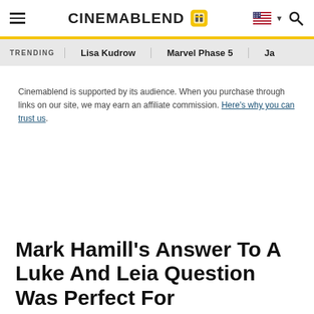CinemaBlend
TRENDING   Lisa Kudrow   Marvel Phase 5   Ja
Cinemablend is supported by its audience. When you purchase through links on our site, we may earn an affiliate commission. Here's why you can trust us.
Mark Hamill's Answer To A Luke And Leia Question Was Perfect For